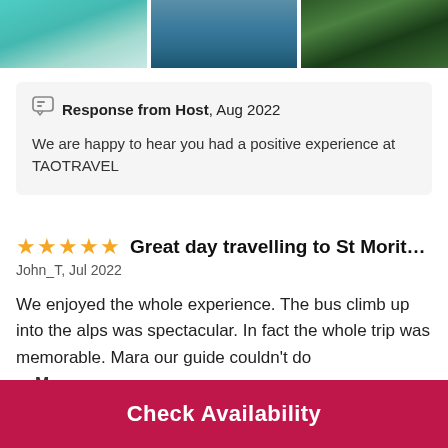[Figure (photo): Three travel photos showing turquoise lake, blue alpine lake, and mountain forest scenery]
Response from Host, Aug 2022
We are happy to hear you had a positive experience at TAOTRAVEL
Great day travelling to St Moritz and...
John_T, Jul 2022
We enjoyed the whole experience. The bus climb up into the alps was spectacular. In fact the whole trip was memorable. Mara our guide couldn't do
... More
Check Availability